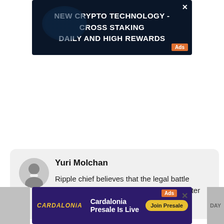[Figure (screenshot): Dark blue ad banner: 'NEW CRYPTO TECHNOLOGY - CROSS STAKING DAILY AND HIGH REWARDS' with Ads badge and close button]
Yuri Molchan
Ripple chief believes that the legal battle against the SEC has been going a lot better than when it started
[Figure (screenshot): Dark purple ad banner for Cardalonia: logo, 'Cardalonia Presale Is Live', Join Presale button, Ads badge, close button]